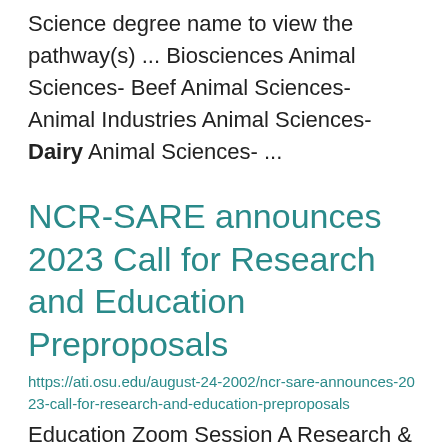Science degree name to view the pathway(s) ... Biosciences Animal Sciences- Beef Animal Sciences- Animal Industries Animal Sciences- Dairy Animal Sciences- ...
NCR-SARE announces 2023 Call for Research and Education Preproposals
https://ati.osu.edu/august-24-2002/ncr-sare-announces-2023-call-for-research-and-education-preproposals
Education Zoom Session A Research & Education preproposal application Zoom will take place on September ...